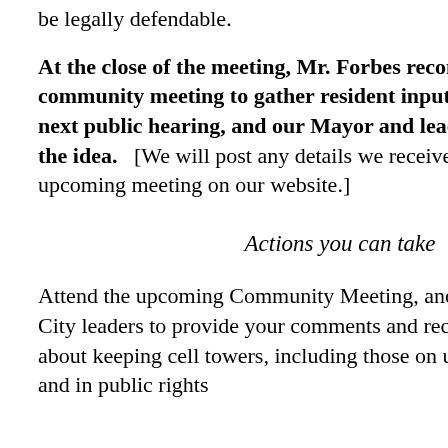be legally defendable.
At the close of the meeting, Mr. Forbes recommended a community meeting to gather resident input before the next public hearing, and our Mayor and leaders approved the idea.   [We will post any details we receive about this upcoming meeting on our website.]
Actions you can take
Attend the upcoming Community Meeting, and e-mail our City leaders to provide your comments and recommendations about keeping cell towers, including those on utility poles and in public rights